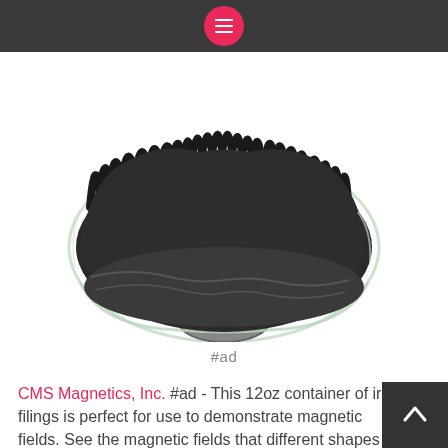menu icon header bar
[Figure (photo): A glass bowl containing dark iron filings spiking upward due to a magnet placed underneath, on a white background.]
#ad
CMS Magnetics, Inc. #ad - This 12oz container of iron filings is perfect for use to demonstrate magnetic fields. See the magnetic fields that different shapes of magnets produce and so much more. Some things that can be done with these iron filings is to mix them in with sand to make for an interesting experiment, or